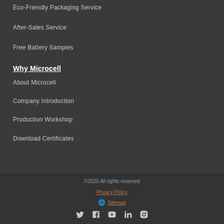Eco-Friendly Packaging Service
After-Sales Service
Free Battery Samples
Why Microcell
About Microcell
Company Introduction
Production Workshop
Download Certificates
©2020 All rights reserved
Privacy Policy
🌐 Sitemap
Social media icons: Twitter, Facebook, YouTube, LinkedIn, Instagram